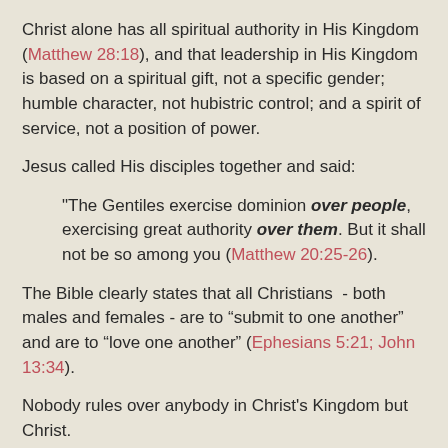Christ alone has all spiritual authority in His Kingdom (Matthew 28:18), and that leadership in His Kingdom is based on a spiritual gift, not a specific gender; humble character, not hubistric control; and a spirit of service, not a position of power.
Jesus called His disciples together and said:
"The Gentiles exercise dominion over people, exercising great authority over them. But it shall not be so among you (Matthew 20:25-26).
The Bible clearly states that all Christians  - both males and females - are to “submit to one another” and are to “love one another” (Ephesians 5:21; John 13:34).
Nobody rules over anybody in Christ's Kingdom but Christ.
Shared leadership between men and women in the home, the church, and the Convention is the New Testament norm.
So what happened to the Southern Baptist Convention?